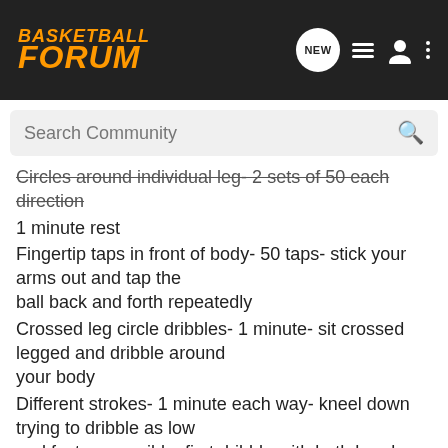BASKETBALL FORUM - navigation header with NEW, list, person, and menu icons
Search Community
Circles around individual leg- 2 sets of 50 each direction
1 minute rest
Fingertip taps in front of body- 50 taps- stick your arms out and tap the ball back and forth repeatedly
Crossed leg circle dribbles- 1 minute- sit crossed legged and dribble around your body
Different strokes- 1 minute each way- kneel down trying to dribble as low and fast as possible, first dribble with both hands, then pinkies, then ring fingers, then middle fingers, then pointer fingers, then thumbs, then karate chops, then with the back of your hands, then fists
Sit on a chair dribble under 1 leg then the other then both then